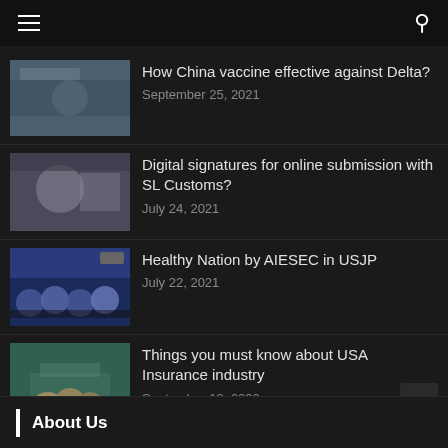Navigation bar with hamburger menu and search icon
How China vaccine effective against Delta? | September 25, 2021
Digital signatures for online submission with SL Customs? | July 24, 2021
Healthy Nation by AIESEC in USJP | July 22, 2021
Things you must know about USA Insurance industry | September 18, 2020
About Us